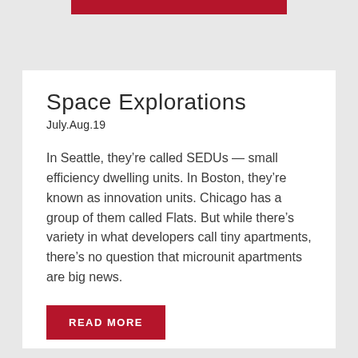Space Explorations
July.Aug.19
In Seattle, they’re called SEDUs — small efficiency dwelling units. In Boston, they’re known as innovation units. Chicago has a group of them called Flats. But while there’s variety in what developers call tiny apartments, there’s no question that microunit apartments are big news.
READ MORE